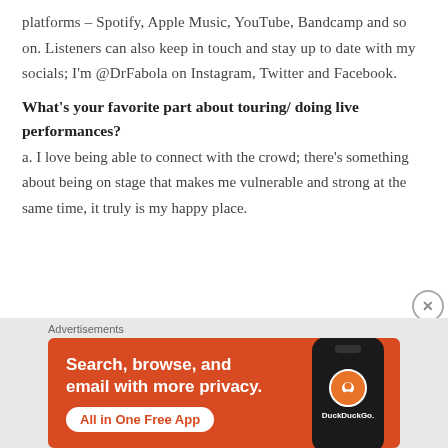platforms – Spotify, Apple Music, YouTube, Bandcamp and so on. Listeners can also keep in touch and stay up to date with my socials; I'm @DrFabola on Instagram, Twitter and Facebook.
What's your favorite part about touring/ doing live performances?
a. I love being able to connect with the crowd; there's something about being on stage that makes me vulnerable and strong at the same time, it truly is my happy place.
Advertisements
[Figure (other): DuckDuckGo advertisement banner with orange background showing 'Search, browse, and email with more privacy. All in One Free App' with a phone mockup displaying DuckDuckGo logo]